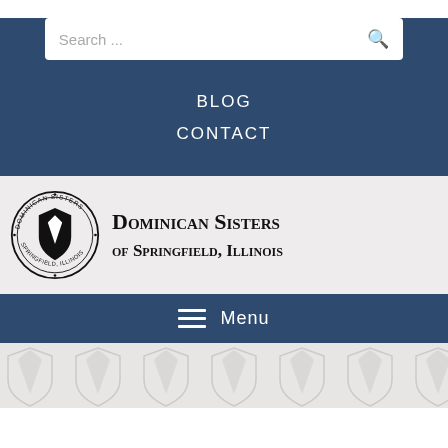[Figure (screenshot): Search bar with placeholder text 'Search ...' and a search/magnifying glass icon on the right, white background, rounded rectangle]
BLOG
CONTACT
[Figure (logo): Dominican Sisters of Springfield, Illinois circular seal logo on the left and organization name text on the right on a light grey background]
Menu